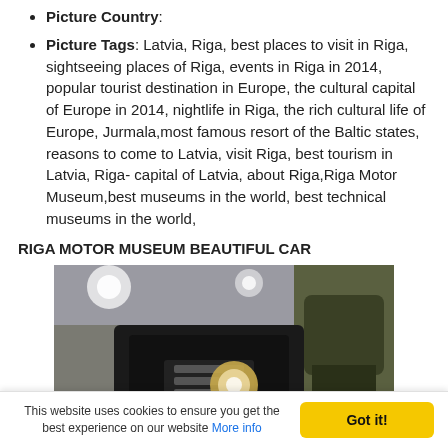Picture Country:
Picture Tags: Latvia, Riga, best places to visit in Riga, sightseeing places of Riga, events in Riga in 2014, popular tourist destination in Europe, the cultural capital of Europe in 2014, nightlife in Riga, the rich cultural life of Europe, Jurmala,most famous resort of the Baltic states, reasons to come to Latvia, visit Riga, best tourism in Latvia, Riga- capital of Latvia, about Riga,Riga Motor Museum,best museums in the world, best technical museums in the world,
RIGA MOTOR MUSEUM BEAUTIFUL CAR
[Figure (photo): Interior view of the Riga Motor Museum showing vintage/classic cars including a large black car in the foreground and a dark green car to the right, taken from an elevated angle inside a museum hall with ceiling lights visible.]
This website uses cookies to ensure you get the best experience on our website More info